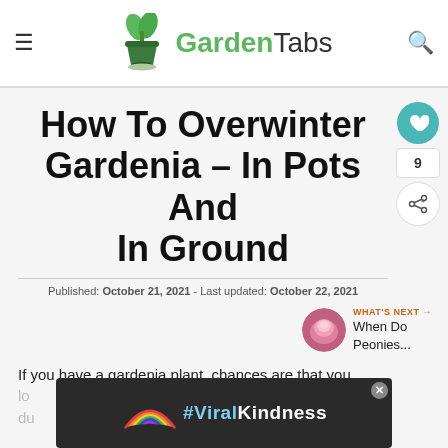GardenTabs
How To Overwinter Gardenia – In Pots And In Ground
Published: October 21, 2021 - Last updated: October 22, 2021
WHAT'S NEXT → When Do Peonies...
If you have a gardenia plant, chances are that you lo... uces. du... s, the
[Figure (other): #ViralKindness advertisement banner with rainbow illustration]